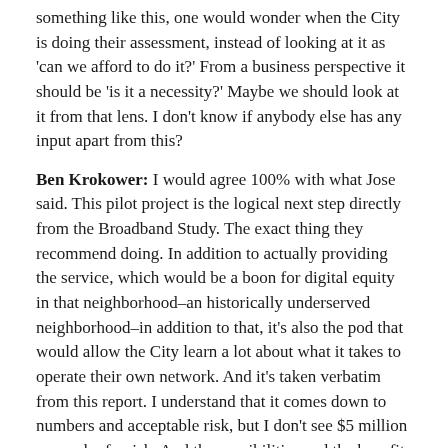something like this, one would wonder when the City is doing their assessment, instead of looking at it as 'can we afford to do it?' From a business perspective it should be 'is it a necessity?' Maybe we should look at it from that lens. I don't know if anybody else has any input apart from this?
Ben Krokower: I would agree 100% with what Jose said. This pilot project is the logical next step directly from the Broadband Study. The exact thing they recommend doing. In addition to actually providing the service, which would be a boon for digital equity in that neighborhood–an historically underserved neighborhood–in addition to that, it's also the pod that would allow the City learn a lot about what it takes to operate their own network. And it's taken verbatim from this report. I understand that it comes down to numbers and acceptable risk, but I don't see $5 million as much of a risk. And the possibilities and the benefits are enormous. So I would second what Jose said.
Nourisha Wells: I thought that that was the plan, to do a pilot.